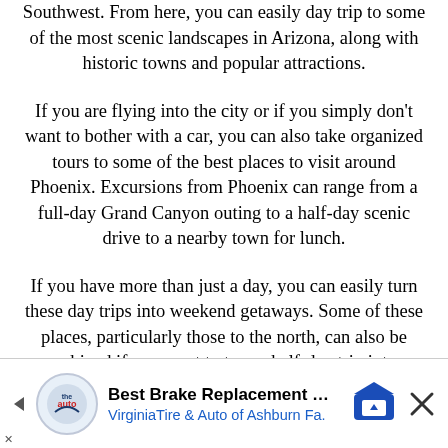Southwest. From here, you can easily day trip to some of the most scenic landscapes in Arizona, along with historic towns and popular attractions.
If you are flying into the city or if you simply don't want to bother with a car, you can also take organized tours to some of the best places to visit around Phoenix. Excursions from Phoenix can range from a full-day Grand Canyon outing to a half-day scenic drive to a nearby town for lunch.
If you have more than just a day, you can easily turn these day trips into weekend getaways. Some of these places, particularly those to the north, can also be combined if you want to turn a half-day trip into a
[Figure (infographic): Advertisement banner for Best Brake Replacement Deal at Virginia Tire & Auto of Ashburn Fa. with logo, road sign icon, and close button.]